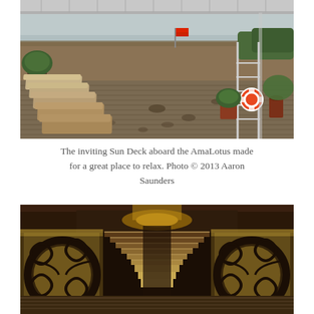[Figure (photo): Sun deck of the AmaLotus river cruise ship showing rows of lounge chairs with beige cushions along a wooden deck. Potted plants and a life ring are visible near the railing. A wide brown river and green trees are visible in the background under a cloudy sky.]
The inviting Sun Deck aboard the AmaLotus made for a great place to relax. Photo © 2013 Aaron Saunders
[Figure (photo): Interior staircase of the AmaLotus river cruise ship, featuring ornate wrought-iron railings with scroll designs, warm amber lighting, wooden steps, and rich wood paneling, giving a luxurious ambiance.]